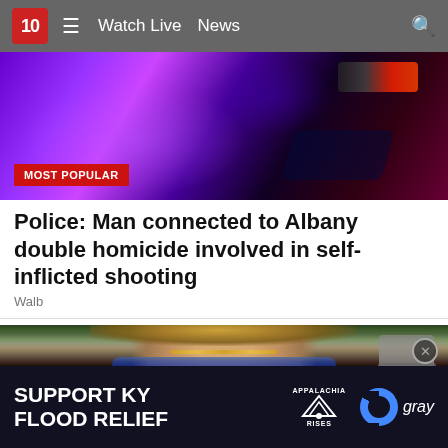10 ☰ Watch Live  News  🔍
[Figure (photo): Police lights in blue and purple tones with a 'MOST POPULAR' red badge overlay]
Police: Man connected to Albany double homicide involved in self-inflicted shooting
Walb
[Figure (photo): Portrait photo of a blonde woman with a stone lantern visible in the background]
[Figure (infographic): Ad banner: SUPPORT KY FLOOD RELIEF with Appalachia Rises logo and Gray Television logo]